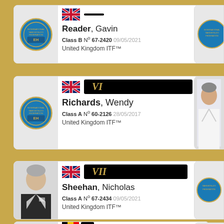Reader, Gavin — Class B N° 67-2420 09/05/2021 — United Kingdom ITF™
[Figure (other): ITF International Taekwon-Do Federation logo circle (blue globe with Korean characters)]
Richards, Wendy — Class A N° 60-2126 28/05/2017 — United Kingdom ITF™
[Figure (other): ITF International Taekwon-Do Federation logo circle (blue globe)]
[Figure (photo): Photo of a man in white taekwondo uniform (dobok)]
Sheehan, Nicholas — Class A N° 67-2434 09/05/2021 — United Kingdom ITF™
[Figure (photo): Photo of a person in black taekwondo uniform]
[Figure (other): ITF International Taekwon-Do Federation logo circle (blue globe)]